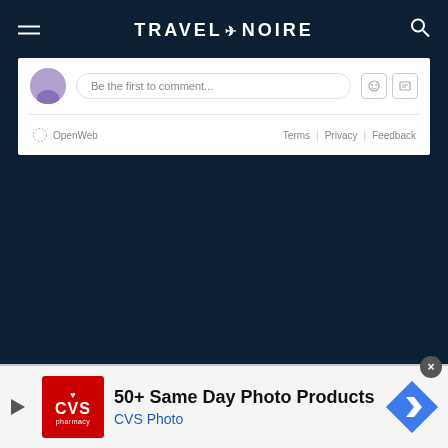TRAVEL + NOIRE
Be the first to comment...
OpenWeb   Terms | Privacy | Feedback
[Figure (screenshot): Advertisement banner: CVS Pharmacy logo with text '50+ Same Day Photo Products' and 'CVS Photo']